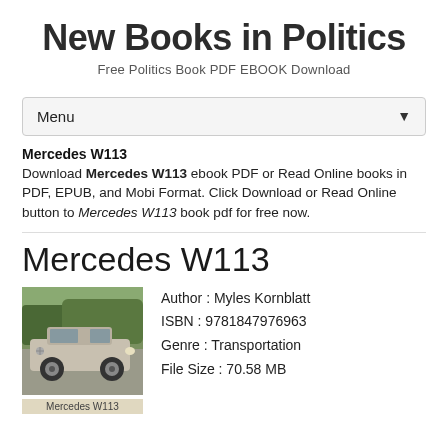New Books in Politics
Free Politics Book PDF EBOOK Download
Menu
Mercedes W113
Download Mercedes W113 ebook PDF or Read Online books in PDF, EPUB, and Mobi Format. Click Download or Read Online button to Mercedes W113 book pdf for free now.
Mercedes W113
[Figure (photo): Book cover image of Mercedes W113 showing a silver Mercedes-Benz classic car]
Mercedes W113
Author : Myles Kornblatt
ISBN : 9781847976963
Genre : Transportation
File Size : 70.58 MB